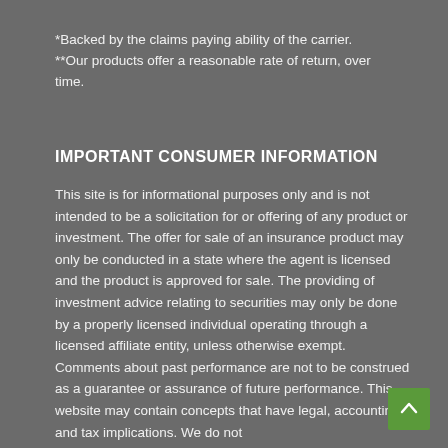*Backed by the claims paying ability of the carrier.
**Our products offer a reasonable rate of return, over time.
IMPORTANT CONSUMER INFORMATION
This site is for informational purposes only and is not intended to be a solicitation for or offering of any product or investment. The offer for sale of an insurance product may only be conducted in a state where the agent is licensed and the product is approved for sale. The providing of investment advice relating to securities may only be done by a properly licensed individual operating through a licensed affiliate entity, unless otherwise exempt. Comments about past performance are not to be construed as a guarantee or assurance of future performance. This website may contain concepts that have legal, accounting and tax implications. We do not